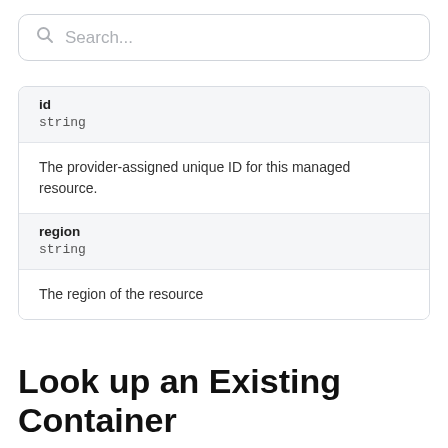[Figure (screenshot): Search bar with magnifying glass icon and placeholder text 'Search...']
| Field | Type | Description |
| --- | --- | --- |
| id | string | The provider-assigned unique ID for this managed resource. |
| region | string | The region of the resource |
Look up an Existing Container